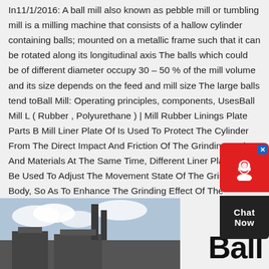In11/1/2016: A ball mill also known as pebble mill or tumbling mill is a milling machine that consists of a hallow cylinder containing balls; mounted on a metallic frame such that it can be rotated along its longitudinal axis The balls which could be of different diameter occupy 30 – 50 % of the mill volume and its size depends on the feed and mill size The large balls tend toBall Mill: Operating principles, components, UsesBall Mill L ( Rubber , Polyurethane ) | Mill Rubber Linings Plate Parts B Mill Liner Plate Of Is Used To Protect The Cylinder From The Direct Impact And Friction Of The Grinding Body And Materials At The Same Time, Different Liner Plates Can Be Used To Adjust The Movement State Of The Grinding Body, So As To Enhance The Grinding Effect Of The Grinding Body On Thespecifications for ball mill liners walkingonwater!l
[Figure (photo): Partial photo of industrial building or mill structure with chimneys/towers visible against a sky background, cropped at bottom of page.]
Ball